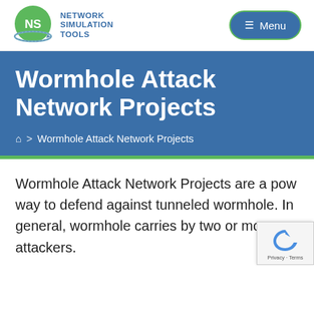[Figure (logo): Network Simulation Tools logo: green circle with NS letters, blue orbital ring, and text NETWORK SIMULATION TOOLS in blue]
[Figure (screenshot): Menu button - dark blue rounded rectangle with hamburger icon and Menu text]
Wormhole Attack Network Projects
🏠 > Wormhole Attack Network Projects
Wormhole Attack Network Projects are a pow way to defend against tunneled wormhole. In general, wormhole carries by two or more attackers.